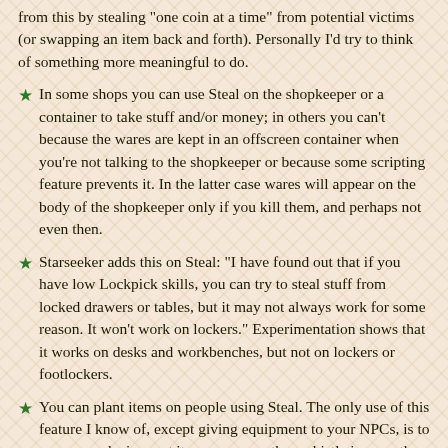from this by stealing "one coin at a time" from potential victims (or swapping an item back and forth). Personally I'd try to think of something more meaningful to do.
In some shops you can use Steal on the shopkeeper or a container to take stuff and/or money; in others you can't because the wares are kept in an offscreen container when you're not talking to the shopkeeper or because some scripting feature prevents it. In the latter case wares will appear on the body of the shopkeeper only if you kill them, and perhaps not even then.
Starseeker adds this on Steal: "I have found out that if you have low Lockpick skills, you can try to steal stuff from locked drawers or tables, but it may not always work for some reason. It won't work on lockers." Experimentation shows that it works on desks and workbenches, but not on lockers or footlockers.
You can plant items on people using Steal. The only use of this feature I know of, except giving equipment to your NPCs, is to arm an explosive, put it on someone, then whistle innocently and walk away a bit. But don't you worry much, for it may not detonate.